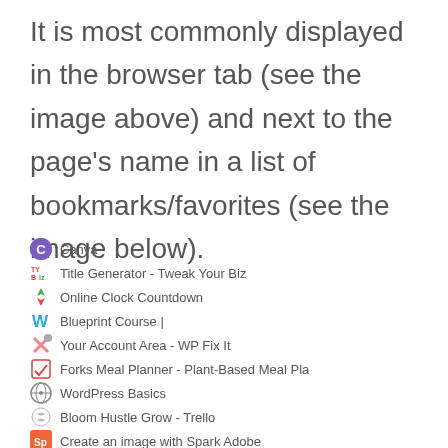It is most commonly displayed in the browser tab (see the image above) and next to the page's name in a list of bookmarks/favorites (see the image below).
[Figure (screenshot): A browser bookmarks/favorites list showing various website favicons and their page titles including Canva, Title Generator - Tweak Your Biz, Online Clock Countdown, Blueprint Course, Your Account Area - WP Fix It, Forks Meal Planner - Plant-Based Meal Pla, WordPress Basics, Bloom Hustle Grow - Trello, Create an image with Spark Adobe, Log In < WP Elevation — WordPress, The Ultimate SEO Checklist for 2020 (66 C...]